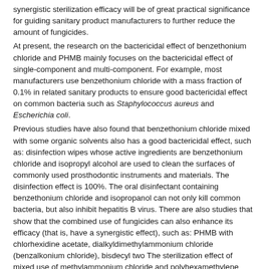synergistic sterilization efficacy will be of great practical significance for guiding sanitary product manufacturers to further reduce the amount of fungicides.
At present, the research on the bactericidal effect of benzethonium chloride and PHMB mainly focuses on the bactericidal effect of single-component and multi-component. For example, most manufacturers use benzethonium chloride with a mass fraction of 0.1% in related sanitary products to ensure good bactericidal effect on common bacteria such as Staphylococcus aureus and Escherichia coli.
Previous studies have also found that benzethonium chloride mixed with some organic solvents also has a good bactericidal effect, such as: disinfection wipes whose active ingredients are benzethonium chloride and isopropyl alcohol are used to clean the surfaces of commonly used prosthodontic instruments and materials. The disinfection effect is 100%. The oral disinfectant containing benzethonium chloride and isopropanol can not only kill common bacteria, but also inhibit hepatitis B virus. There are also studies that show that the combined use of fungicides can also enhance its efficacy (that is, have a synergistic effect), such as: PHMB with chlorhexidine acetate, dialkyldimethylammonium chloride (benzalkonium chloride), bisdecyl two The sterilization effect of mixed use of methylammonium chloride and polyhexamethylene monoguanidine is better than the effect of single use. Among them, the compound disinfectant composed of PHMB and bisdecyldimethylammonium chloride or chlorhexidine acetate is used for sterilization. The effect is better